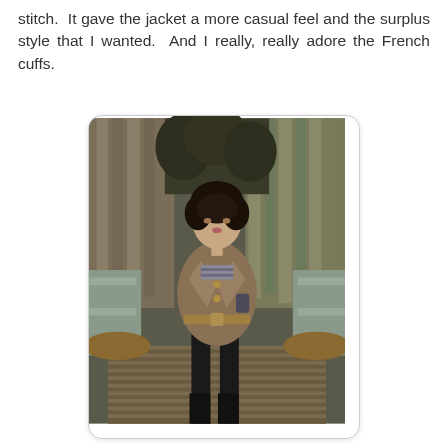stitch.  It gave the jacket a more casual feel and the surplus style that I wanted.  And I really, really adore the French cuffs.
[Figure (photo): A woman wearing a belted brown jacket and black leather pants walks toward the camera on a wooden bridge. She has curly dark hair and is holding something in one hand. The background features a wooden fence and autumn foliage.]